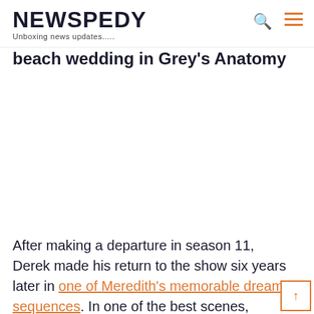NEWSPEDY — Unboxing news updates.....
beach wedding in Grey's Anatomy
After making a departure in season 11, Derek made his return to the show six years later in one of Meredith's memorable dream sequences. In one of the best scenes, Meredith and Derek were seen to get the wedding their